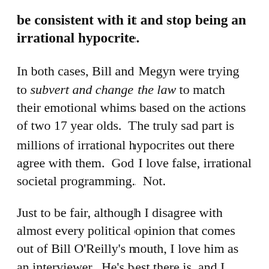be consistent with it and stop being an irrational hypocrite.
In both cases, Bill and Megyn were trying to subvert and change the law to match their emotional whims based on the actions of two 17 year olds.  The truly sad part is millions of irrational hypocrites out there agree with them.  God I love false, irrational societal programming.  Not.
Just to be fair, although I disagree with almost every political opinion that comes out of Bill O'Reilly's mouth, I love him as an interviewer.  He's best there is, and I mean that.  There's a reason he kills everyone else in the ratings...it's because he's good.  I watch him just as much as I watch the Young Tu...